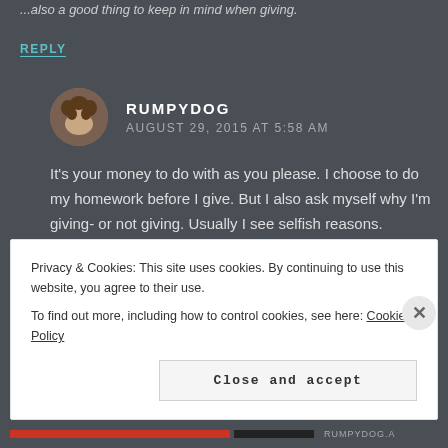...also a good thing to keep in mind when giving.
REPLY
RUMPYDOG
AUGUST 29, 2015 AT 5:58 AM
It's your money to do with as you please. I choose to do my homework before I give. But I also ask myself why I'm giving- or not giving. Usually I see selfish reasons.
REPLY
Privacy & Cookies: This site uses cookies. By continuing to use this website, you agree to their use.
To find out more, including how to control cookies, see here: Cookie Policy
Close and accept